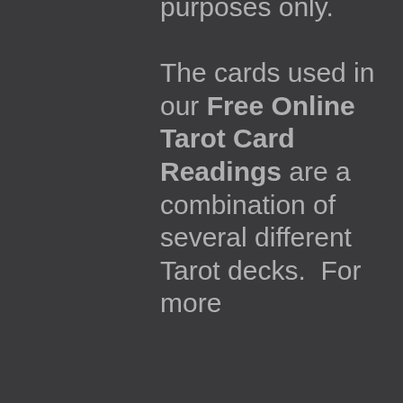purposes only. The cards used in our Free Online Tarot Card Readings are a combination of several different Tarot decks. For more